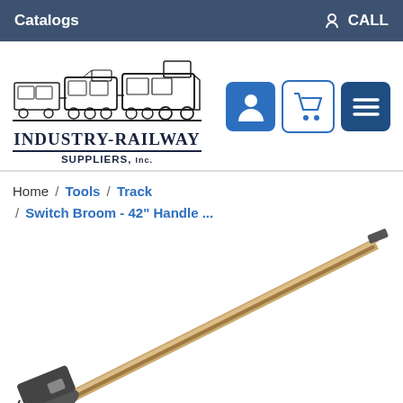Catalogs    CALL
[Figure (logo): Industry-Railway Suppliers Inc. logo with train illustration]
Home / Tools / Track / Switch Broom - 42" Handle ...
[Figure (photo): Switch broom with 42 inch wooden handle, shown diagonally across page]